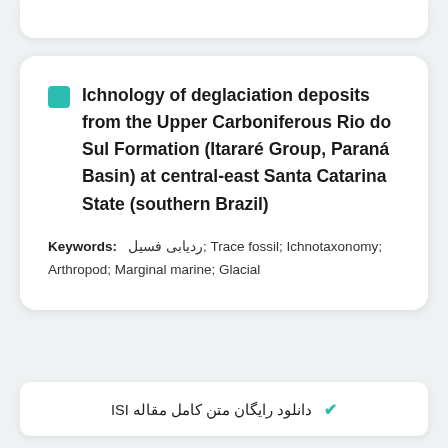Ichnology of deglaciation deposits from the Upper Carboniferous Rio do Sul Formation (Itararé Group, Paraná Basin) at central-east Santa Catarina State (southern Brazil)
Keywords: ردیابی فسیل; Trace fossil; Ichnotaxonomy; Arthropod; Marginal marine; Glacial
✔ دانلود رایگان متن کامل مقاله ISI